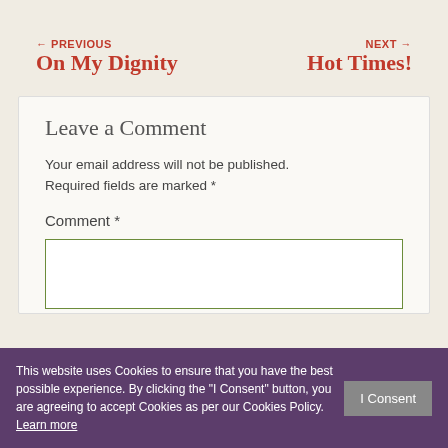← PREVIOUS On My Dignity
NEXT → Hot Times!
Leave a Comment
Your email address will not be published. Required fields are marked *
Comment *
This website uses Cookies to ensure that you have the best possible experience. By clicking the "I Consent" button, you are agreeing to accept Cookies as per our Cookies Policy. Learn more